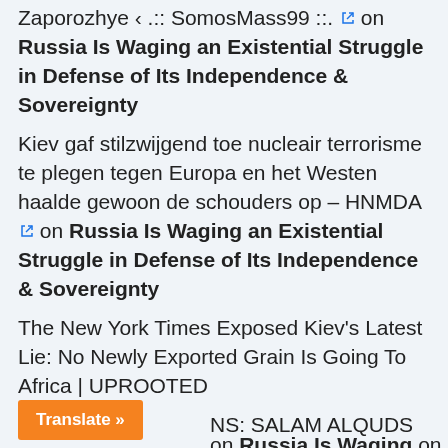Zaporozhye ‹ .:: SomosMass99 ::. on Russia Is Waging an Existential Struggle in Defense of Its Independence & Sovereignty
Kiev gaf stilzwijgend toe nucleair terrorisme te plegen tegen Europa en het Westen haalde gewoon de schouders op – HNMDA on Russia Is Waging an Existential Struggle in Defense of Its Independence & Sovereignty
The New York Times Exposed Kiev's Latest Lie: No Newly Exported Grain Is Going To Africa | UPROOTED NS: SALAM ALQUDS on Russia Is Waging on
Translate »